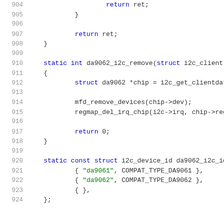Source code listing lines 904-924, C kernel driver code for da9062 i2c remove and device id table.